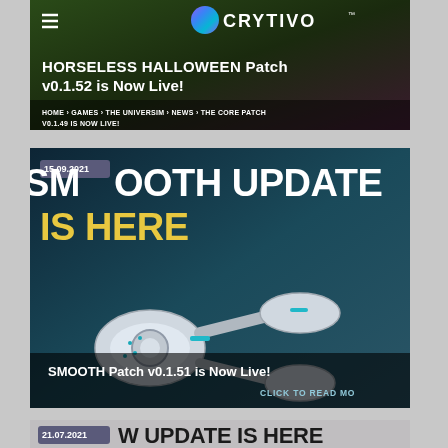[Figure (screenshot): Crytivo website banner showing HORSELESS HALLOWEEN Patch v0.1.52 is Now Live with navigation breadcrumb HOME > GAMES > THE UNIVERSIM > NEWS > THE CORE PATCH V0.149 IS NOW LIVE!]
[Figure (screenshot): Game news card dated 15.09.2021 showing SMOOTH UPDATE IS HERE with robot arm image and text SMOOTH Patch v0.1.51 is Now Live! CLICK TO READ MORE]
[Figure (screenshot): Game news card dated 21.07.2021 showing NEW UPDATE IS HERE]